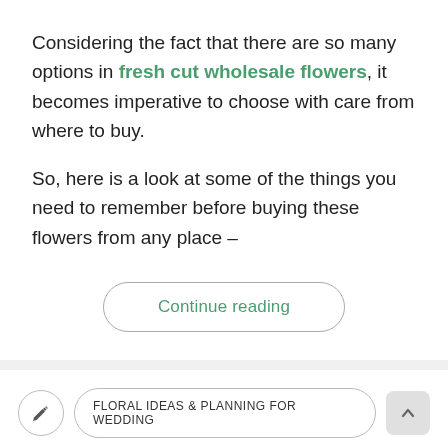Considering the fact that there are so many options in fresh cut wholesale flowers, it becomes imperative to choose with care from where to buy.
So, here is a look at some of the things you need to remember before buying these flowers from any place –
Continue reading
FLORAL IDEAS & PLANNING FOR WEDDING
Cut fresh wholesale fl...